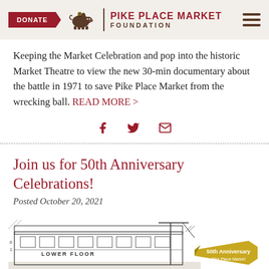DONATE | PIKE PLACE MARKET FOUNDATION
Keeping the Market Celebration and pop into the historic Market Theatre to view the new 30-min documentary about the battle in 1971 to save Pike Place Market from the wrecking ball. READ MORE >
[Figure (other): Social sharing icons: Facebook (f), Twitter (bird), Email (envelope)]
Join us for 50th Anniversary Celebrations!
Posted October 20, 2021
[Figure (illustration): Sketch illustration of Pike Place Market with '50th Anniversary' ribbon banner in gold, showing market building facade and signage including 'LOWER FLOOR']